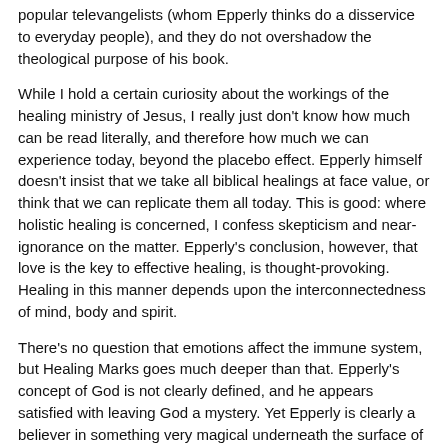popular televangelists (whom Epperly thinks do a disservice to everyday people), and they do not overshadow the theological purpose of his book.
While I hold a certain curiosity about the workings of the healing ministry of Jesus, I really just don't know how much can be read literally, and therefore how much we can experience today, beyond the placebo effect. Epperly himself doesn't insist that we take all biblical healings at face value, or think that we can replicate them all today. This is good: where holistic healing is concerned, I confess skepticism and near-ignorance on the matter. Epperly's conclusion, however, that love is the key to effective healing, is thought-provoking. Healing in this manner depends upon the interconnectedness of mind, body and spirit.
There's no question that emotions affect the immune system, but Healing Marks goes much deeper than that. Epperly's concept of God is not clearly defined, and he appears satisfied with leaving God a mystery. Yet Epperly is clearly a believer in something very magical underneath the surface of our material living: “I believe that our prayers radiate across the universe, unlimited by spatial separation of temporality. Our prayers can heal past memories, influence the future, and influence